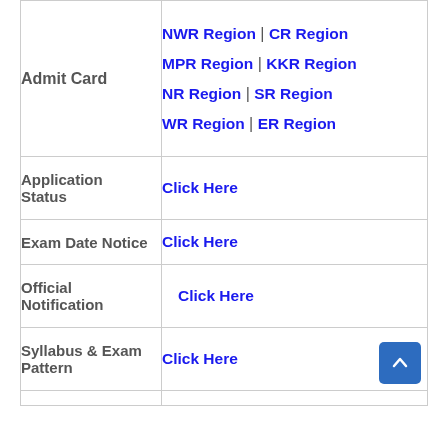| Category | Links |
| --- | --- |
| Admit Card | NWR Region | CR Region
MPR Region | KKR Region
NR Region | SR Region
WR Region | ER Region |
| Application Status | Click Here |
| Exam Date Notice | Click Here |
| Official Notification | Click Here |
| Syllabus & Exam Pattern | Click Here |